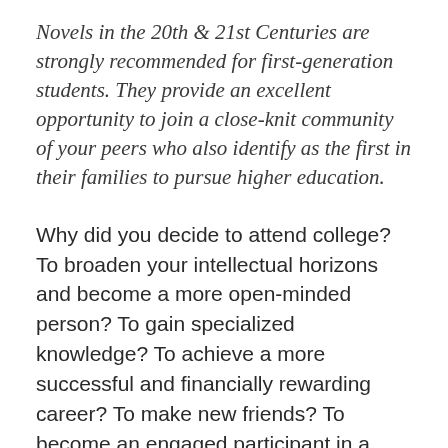Novels in the 20th & 21st Centuries are strongly recommended for first-generation students. They provide an excellent opportunity to join a close-knit community of your peers who also identify as the first in their families to pursue higher education.
Why did you decide to attend college? To broaden your intellectual horizons and become a more open-minded person? To gain specialized knowledge? To achieve a more successful and financially rewarding career? To make new friends? To become an engaged participant in a democratic society? To satisfy your parents' plans for your future? Or perhaps some combination of these reasons that you are still